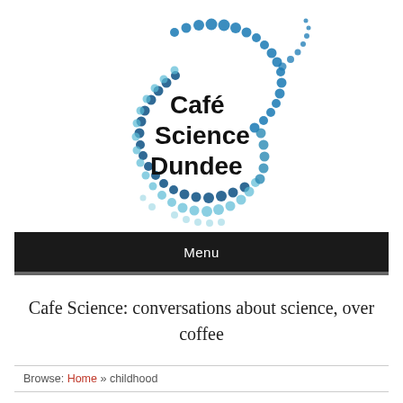[Figure (logo): Café Science Dundee logo: circular arrangement of blue/teal dots forming a fish or speech-bubble shape, with bold black text 'Café Science Dundee' inside]
Menu
Cafe Science: conversations about science, over coffee
Browse: Home » childhood